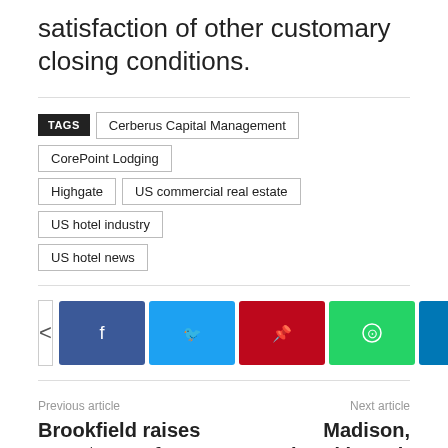satisfaction of other customary closing conditions.
TAGS: Cerberus Capital Management | CorePoint Lodging | Highgate | US commercial real estate | US hotel industry | US hotel news
[Figure (infographic): Social share buttons: share toggle, Facebook, Twitter, Pinterest, WhatsApp, LinkedIn, Reddit, Email]
Previous article
Brookfield raises over $500m for growth fund
Next article
Madison, Newbond launch $500m hospitality lending partnership